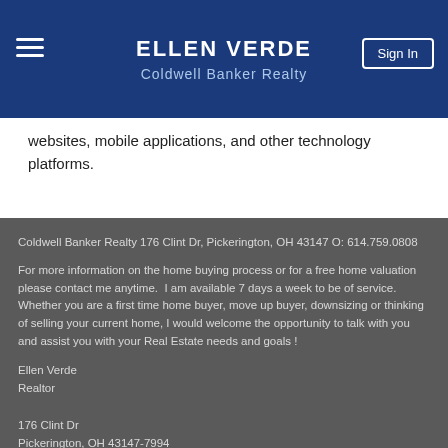ELLEN VERDE
Coldwell Banker Realty
websites, mobile applications, and other technology platforms.
Coldwell Banker Realty 176 Clint Dr, Pickerington, OH 43147 O: 614.759.0808
For more information on the home buying process or for a free home valuation please contact me anytime.  I am available 7 days a week to be of service.  Whether you are a first time home buyer, move up buyer, downsizing or thinking of selling your current home, I would welcome the opportunity to talk with you and assist you with your Real Estate needs and goals !
Ellen Verde
Realtor

176 Clint Dr
Pickerington, OH 43147-7994
Office Phone: (614) 759-0808
Cell Phone: (614) 778-0336